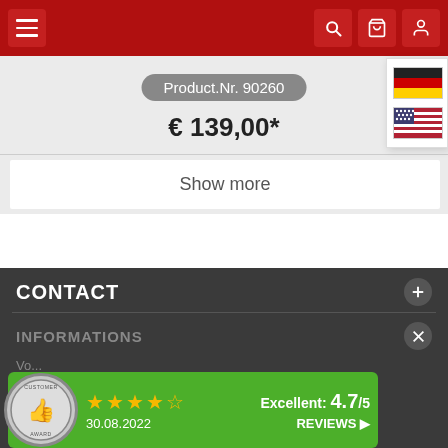[Figure (screenshot): Navigation bar with hamburger menu on the left and search, cart, and user icons on the right, on a red background]
Product.Nr. 90260
€ 139,00*
Show more
CONTACT
INFORMATIONS
[Figure (other): Customer award widget showing 4.7/5 stars rating, dated 30.08.2022 with reviews link]